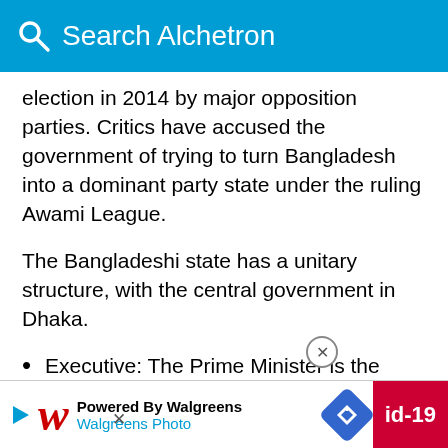Search Alchetron
election in 2014 by major opposition parties. Critics have accused the government of trying to turn Bangladesh into a dominant party state under the ruling Awami League.
The Bangladeshi state has a unitary structure, with the central government in Dhaka.
Executive: The Prime Minister is the head of government and is appointed by the President with the confidence of the majority in parliament. The Prime Minister heads the Cabinet of Bangladesh which holds Executive power. The President is the head … Presic… ge-